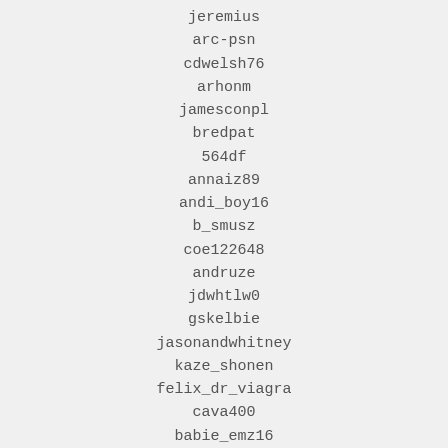jeremius
arc-psn
cdwelsh76
arhonm
jamesconpl
bredpat
564df
annaiz89
andi_boy16
b_smusz
coe122648
andruze
jdwhtlw0
gskelbie
jasonandwhitney
kaze_shonen
felix_dr_viagra
cava400
babie_emz16
asher-w
l0ck0
dani_elloco23
jameschurch100
egardner11